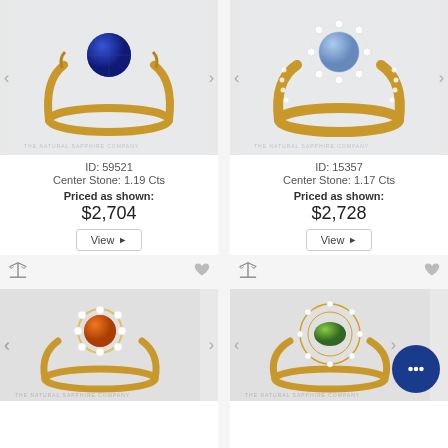[Figure (photo): Gold ring with deep blue sapphire center stone, solitaire style]
ID: 59521
Center Stone: 1.19 Cts
Priced as shown:
$2,704
[Figure (photo): Gold ring with light blue sapphire center stone surrounded by diamond halo]
ID: 15357
Center Stone: 1.17 Cts
Priced as shown:
$2,728
[Figure (photo): Gold ring with orange sapphire center stone surrounded by diamond halo]
[Figure (photo): Gold ring with green sapphire center stone in ornate setting with diamonds]